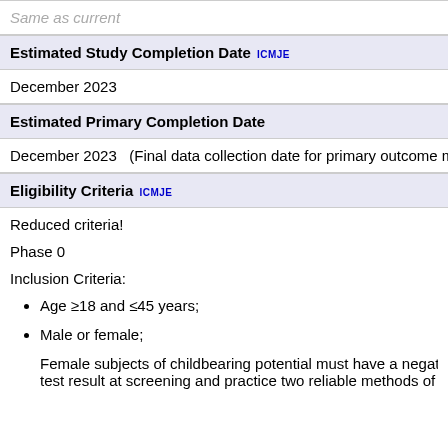Same as current
Estimated Study Completion Date ICMJE
December 2023
Estimated Primary Completion Date
December 2023   (Final data collection date for primary outcome meas...
Eligibility Criteria ICMJE
Reduced criteria!
Phase 0
Inclusion Criteria:
Age ≥18 and ≤45 years;
Male or female;
Female subjects of childbearing potential must have a negativ... test result at screening and practice two reliable methods of co...